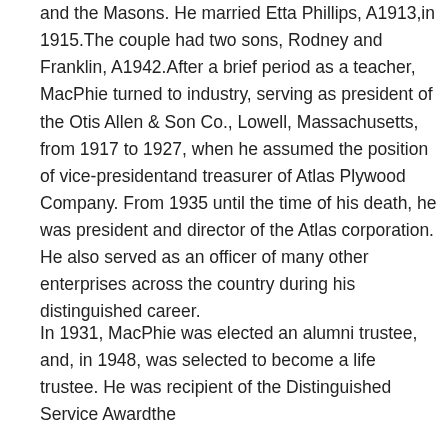and the Masons. He married Etta Phillips, A1913,in 1915.The couple had two sons, Rodney and Franklin, A1942.After a brief period as a teacher, MacPhie turned to industry, serving as president of the Otis Allen & Son Co., Lowell, Massachusetts, from 1917 to 1927, when he assumed the position of vice-presidentand treasurer of Atlas Plywood Company. From 1935 until the time of his death, he was president and director of the Atlas corporation. He also served as an officer of many other enterprises across the country during his distinguished career.
In 1931, MacPhie was elected an alumni trustee, and, in 1948, was selected to become a life trustee. He was recipient of the Distinguished Service Awardthe